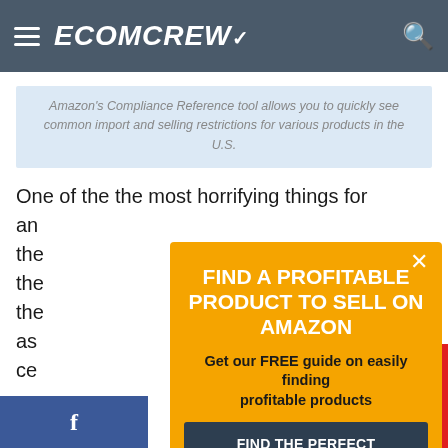ECOMCREW
Amazon's Compliance Reference tool allows you to quickly see common import and selling restrictions for various products in the U.S.
One of the the most horrifying things for an the the the as ce
[Figure (screenshot): Orange popup overlay with title 'FIND A PROFITABLE PRODUCT TO SELL ON AMAZON', subtitle 'Get our FREE guide on easily finding profitable products', and a dark button 'FIND THE PERFECT PRODUCT NOW'. Close X button in top right corner.]